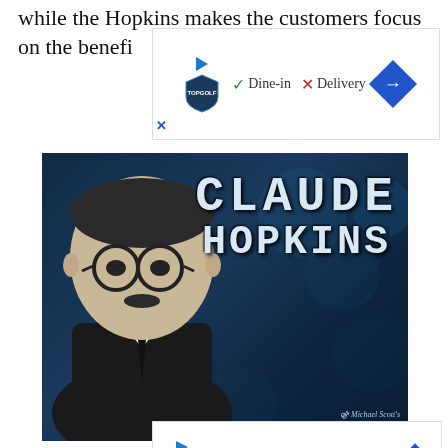while the Hopkins makes the customers focus on the benefi... ...roduct.
[Figure (other): Advertisement banner for TopGolf showing Dine-in (checkmark) and Delivery (X) options with navigation arrow]
[Figure (photo): Black and white portrait of Claude Hopkins with his name in large white text on a dark blue textured background. Watermark reads 'Michael Scott's HardToFindSeminars.com']
Developmental Factors and
[Figure (other): Advertisement banner for TopGolf showing Dine-in (checkmark) and Delivery (X) options with navigation arrow]